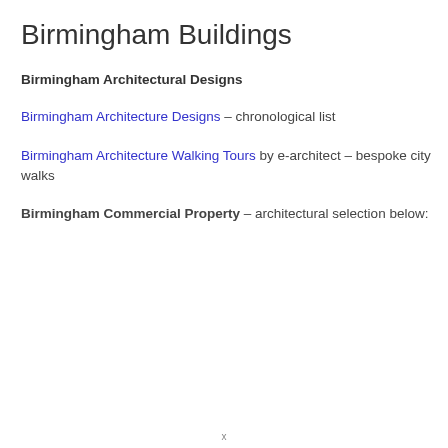Birmingham Buildings
Birmingham Architectural Designs
Birmingham Architecture Designs – chronological list
Birmingham Architecture Walking Tours by e-architect – bespoke city walks
Birmingham Commercial Property – architectural selection below:
x